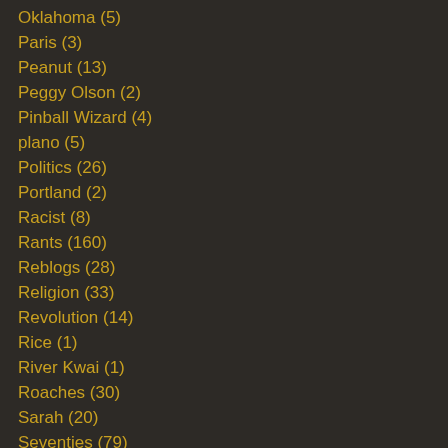Oklahoma (5)
Paris (3)
Peanut (13)
Peggy Olson (2)
Pinball Wizard (4)
plano (5)
Politics (26)
Portland (2)
Racist (8)
Rants (160)
Reblogs (28)
Religion (33)
Revolution (14)
Rice (1)
River Kwai (1)
Roaches (30)
Sarah (20)
Seventies (79)
SFM (54)
Shakespeare (72)
Simon and Garfunkle (2)